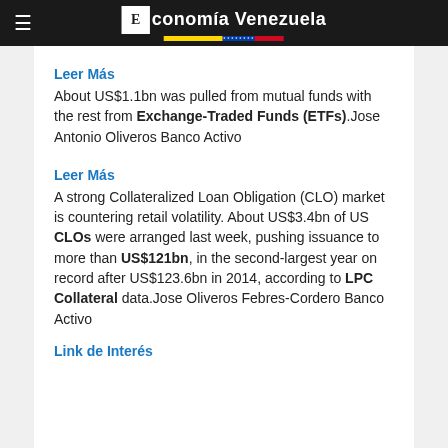Economía Venezuela
Leer Más
About US$1.1bn was pulled from mutual funds with the rest from Exchange-Traded Funds (ETFs).Jose Antonio Oliveros Banco Activo
Leer Más
A strong Collateralized Loan Obligation (CLO) market is countering retail volatility. About US$3.4bn of US CLOs were arranged last week, pushing issuance to more than US$121bn, in the second-largest year on record after US$123.6bn in 2014, according to LPC Collateral data.Jose Oliveros Febres-Cordero Banco Activo
Link de Interés